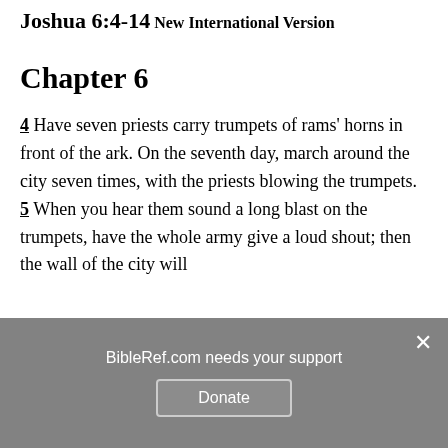Joshua 6:4-14
New International Version
Chapter 6
4 Have seven priests carry trumpets of rams' horns in front of the ark. On the seventh day, march around the city seven times, with the priests blowing the trumpets. 5 When you hear them sound a long blast on the trumpets, have the whole army give a loud shout; then the wall of the city will
BibleRef.com needs your support
Donate